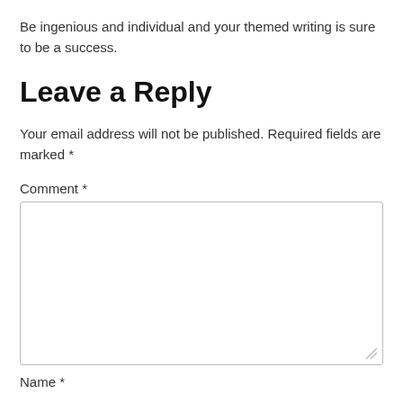Be ingenious and individual and your themed writing is sure to be a success.
Leave a Reply
Your email address will not be published. Required fields are marked *
Comment *
Name *